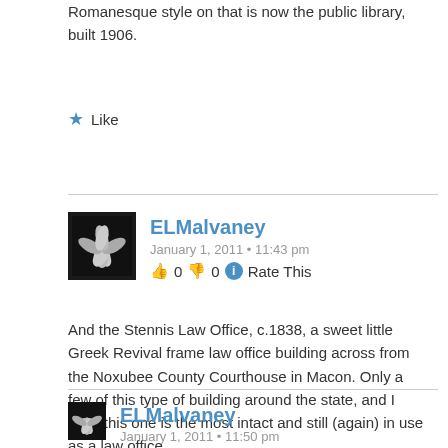Romanesque style on that is now the public library, built 1906.
★ Like
ELMalvaney
January 1, 2011 • 11:43 pm
👍 0 👎 0 ℹ Rate This
And the Stennis Law Office, c.1838, a sweet little Greek Revival frame law office building across from the Noxubee County Courthouse in Macon. Only a few of this type of building around the state, and I think this one is the most intact and still (again) in use as a law office.
★ Like
ELMalvaney
January 1, 2011 • 11:50 pm
👍 0 👎 0 ℹ Rate This